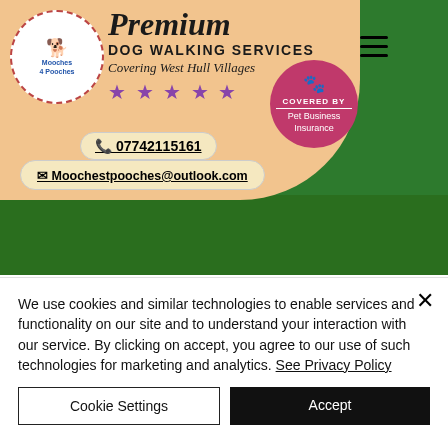[Figure (screenshot): Mooches 4 Pooches premium dog walking services website header. Peach banner with circular logo showing a dog, text reading 'Premium DOG WALKING SERVICES Covering West Hull Villages' with 5 stars, phone number 07742115161, email moochestpooches@outlook.com, a pink circular Pet Business Insurance badge, hamburger menu, and green grass background with dog visible.]
We use cookies and similar technologies to enable services and functionality on our site and to understand your interaction with our service. By clicking on accept, you agree to our use of such technologies for marketing and analytics. See Privacy Policy
Cookie Settings
Accept